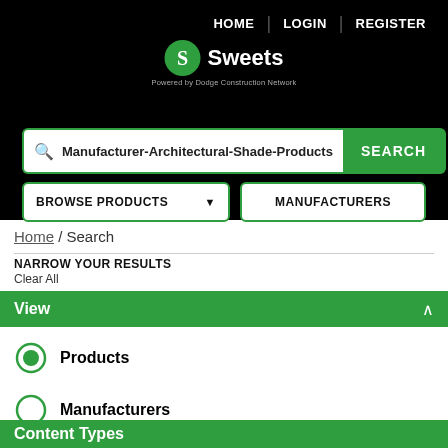HOME | LOGIN | REGISTER
[Figure (logo): Sweets logo — green circle with S, powered by Dodge Construction Network]
Manufacturer-Architectural-Shade-Products
BROWSE PRODUCTS ▼   MANUFACTURERS
Home / Search
NARROW YOUR RESULTS
Clear All
View
Products (selected)
Manufacturers
Content Types